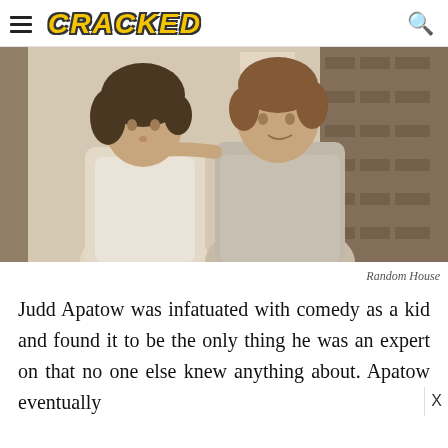CRACKED
[Figure (photo): Two young men posing together in a vintage photograph, one with dark curly hair wearing a white shirt, the other with brown hair wearing a grey t-shirt. Background shows a wall with papers and brick.]
Random House
Judd Apatow was infatuated with comedy as a kid and found it to be the only thing he was an expert on that no one else knew anything about. Apatow eventually